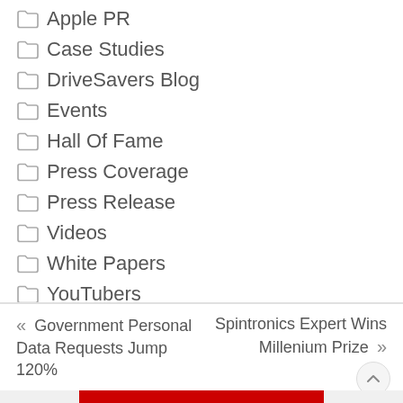Apple PR
Case Studies
DriveSavers Blog
Events
Hall Of Fame
Press Coverage
Press Release
Videos
White Papers
YouTubers
« Government Personal Data Requests Jump 120%
Spintronics Expert Wins Millenium Prize »